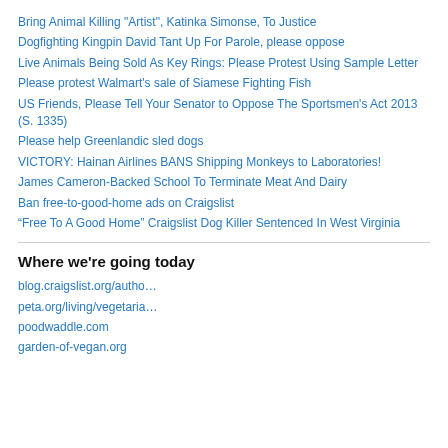Bring Animal Killing "Artist", Katinka Simonse, To Justice
Dogfighting Kingpin David Tant Up For Parole, please oppose
Live Animals Being Sold As Key Rings: Please Protest Using Sample Letter
Please protest Walmart's sale of Siamese Fighting Fish
US Friends, Please Tell Your Senator to Oppose The Sportsmen's Act 2013 (S. 1335)
Please help Greenlandic sled dogs
VICTORY: Hainan Airlines BANS Shipping Monkeys to Laboratories!
James Cameron-Backed School To Terminate Meat And Dairy
Ban free-to-good-home ads on Craigslist
“Free To A Good Home” Craigslist Dog Killer Sentenced In West Virginia
Where we're going today
blog.craigslist.org/autho…
peta.org/living/vegetaria…
poodwaddle.com
garden-of-vegan.org